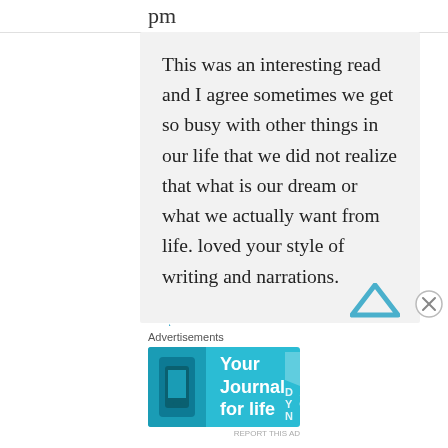pm
This was an interesting read and I agree sometimes we get so busy with other things in our life that we did not realize that what is our dream or what we actually want from life. loved your style of writing and narrations.
Liked by 1 person
Advertisements
[Figure (screenshot): Advertisement banner for Day One - Your Journal for life app, showing a phone and app logo on a teal/cyan background]